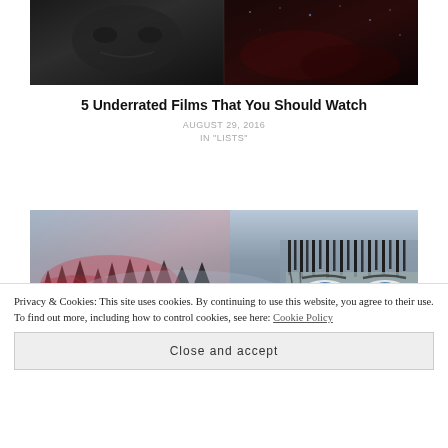[Figure (photo): Dark horror-themed movie collage — left half shows a dark grey creature/monster face, right half shows a dark reddish-brown starry or smoke scene]
5 Underrated Films That You Should Watch
AUGUST 29, 2016
IN "LISTS"
[Figure (photo): Movie scene from The Revenant or similar — misty blue-grey wilderness with pine trees, and close-up of a man's eyes with wet hair, intense blue eyes looking forward]
Privacy & Cookies: This site uses cookies. By continuing to use this website, you agree to their use.
To find out more, including how to control cookies, see here: Cookie Policy
Close and accept